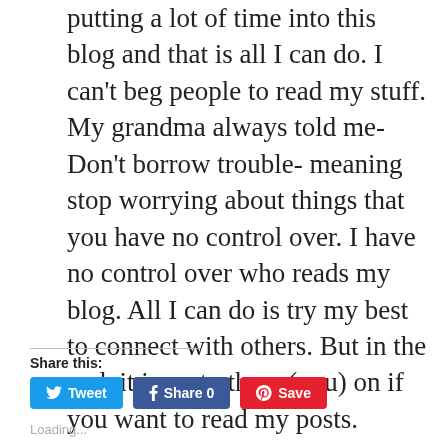putting a lot of time into this blog and that is all I can do. I can't beg people to read my stuff. My grandma always told me- Don't borrow trouble- meaning stop worrying about things that you have no control over. I have no control over who reads my blog. All I can do is try my best to connect with others. But in the end, it is up to them (you) on if you want to read my posts.
Share this:
[Figure (infographic): Social share buttons: Tweet (Twitter, blue), Share 0 (Facebook, dark blue), Save (Pinterest, red)]
Loading...